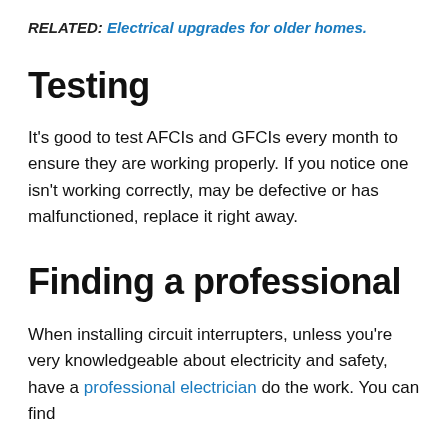RELATED: Electrical upgrades for older homes.
Testing
It's good to test AFCIs and GFCIs every month to ensure they are working properly. If you notice one isn't working correctly, may be defective or has malfunctioned, replace it right away.
Finding a professional
When installing circuit interrupters, unless you're very knowledgeable about electricity and safety, have a professional electrician do the work. You can find